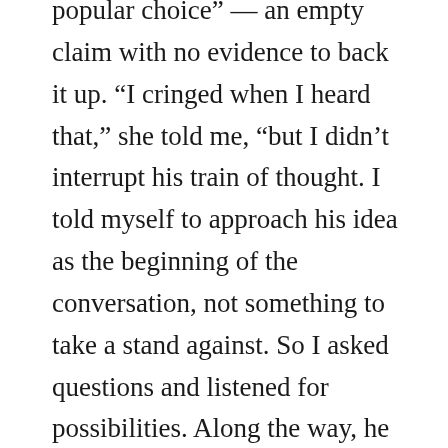popular choice” — an empty claim with no evidence to back it up. “I cringed when I heard that,” she told me, “but I didn’t interrupt his train of thought. I told myself to approach his idea as the beginning of the conversation, not something to take a stand against. So I asked questions and listened for possibilities. Along the way, he mentioned that he had recently received compliments about his store’s customer service. As he talked, I realized that testimonials could make the concept of popularity come to life. He liked that idea,